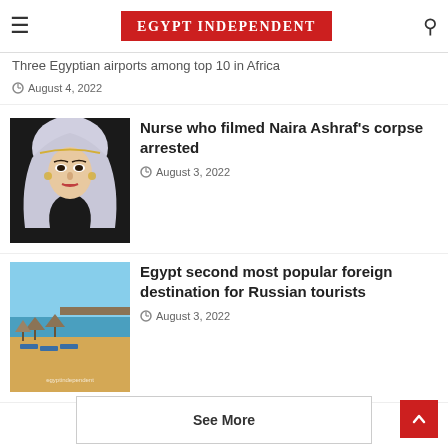EGYPT INDEPENDENT
Three Egyptian airports among top 10 in Africa
August 4, 2022
[Figure (photo): Portrait illustration of a woman in traditional white veil and headdress with ornate jewelry]
Nurse who filmed Naira Ashraf's corpse arrested
August 3, 2022
[Figure (photo): Beach scene with thatched umbrellas, lounge chairs, and sandy shore along waterfront]
Egypt second most popular foreign destination for Russian tourists
August 3, 2022
See More